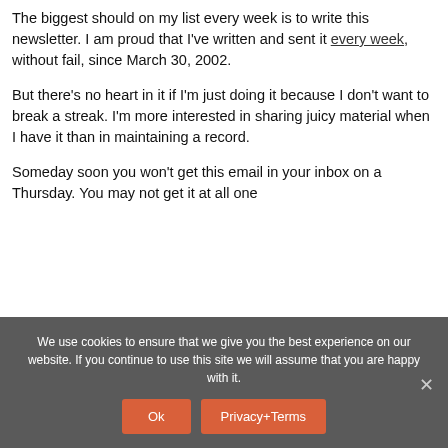The biggest should on my list every week is to write this newsletter. I am proud that I've written and sent it every week, without fail, since March 30, 2002.
But there's no heart in it if I'm just doing it because I don't want to break a streak. I'm more interested in sharing juicy material when I have it than in maintaining a record.
Someday soon you won't get this email in your inbox on a Thursday. You may not get it at all one
We use cookies to ensure that we give you the best experience on our website. If you continue to use this site we will assume that you are happy with it.